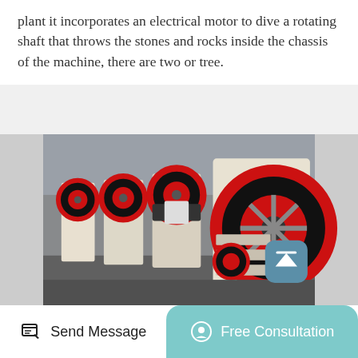plant it incorporates an electrical motor to dive a rotating shaft that throws the stones and rocks inside the chassis of the machine, there are two or tree.
[Figure (photo): Row of large industrial jaw crusher machines in a factory/warehouse setting. The machines are cream/white colored with prominent black and red flywheels. Multiple units are lined up in a row perspective view.]
Send Message | Free Consultation